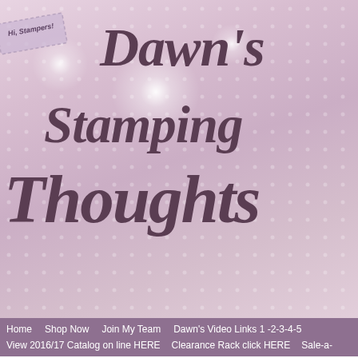[Figure (screenshot): Dawn's Stamping Thoughts blog header banner — pink/mauve background with polka dots and starburst effects. 'Hi, Stampers!' badge rotated in top left corner. Large italic serif text reads "Dawn's Stamping Thoughts" in dark mauve/purple.]
Home   Shop Now   Join My Team   Dawn's Video Links 1 -2-3-4-5   View 2016/17 Catalog on line HERE   Clearance Rack click HERE   Sale-a-
[Figure (photo): Photo of a smiling blonde woman in a black outfit, cropped portrait style inside a white-bordered frame.]
« New Photos from St. Maart
June 03, 2009
Shutter card for Fathe
[Figure (photo): Partial view of a shutter card craft project at the bottom of the page.]